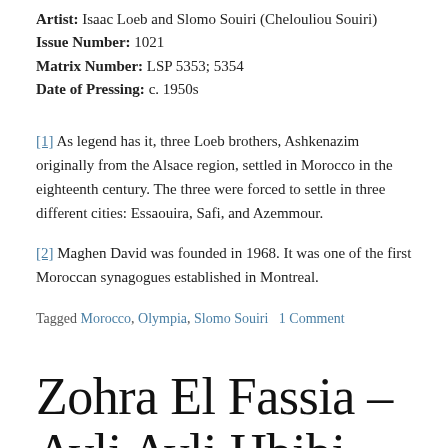Artist: Isaac Loeb and Slomo Souiri (Chelouliou Souiri)
Issue Number: 1021
Matrix Number: LSP 5353; 5354
Date of Pressing: c. 1950s
[1] As legend has it, three Loeb brothers, Ashkenazim originally from the Alsace region, settled in Morocco in the eighteenth century. The three were forced to settle in three different cities: Essaouira, Safi, and Azemmour.
[2] Maghen David was founded in 1968. It was one of the first Moroccan synagogues established in Montreal.
Tagged Morocco, Olympia, Slomo Souiri   1 Comment
Zohra El Fassia – Ayli Ayli Hbibi Djali [Sides 1-2]